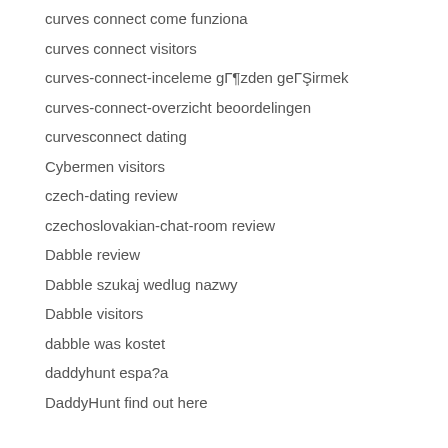curves connect come funziona
curves connect visitors
curves-connect-inceleme gözden geçirmek
curves-connect-overzicht beoordelingen
curvesconnect dating
Cybermen visitors
czech-dating review
czechoslovakian-chat-room review
Dabble review
Dabble szukaj wedlug nazwy
Dabble visitors
dabble was kostet
daddyhunt espa?a
DaddyHunt find out here